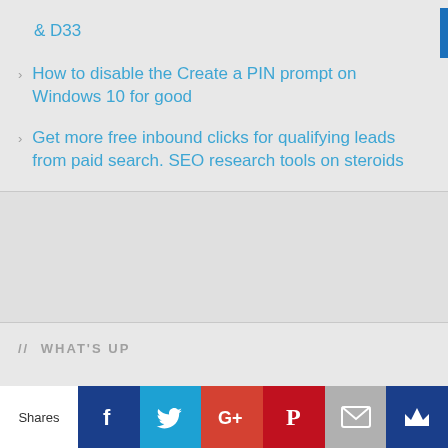& D33
How to disable the Create a PIN prompt on Windows 10 for good
Get more free inbound clicks for qualifying leads from paid search. SEO research tools on steroids
// WHAT'S UP
ActionScript Adobe Adobe CC All-in-One WP Migration
Shares | Facebook | Twitter | Google+ | Pinterest | Email | Crown